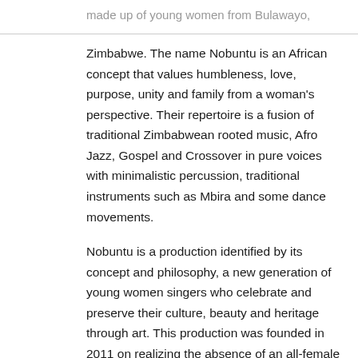made up of young women from Bulawayo,
Zimbabwe. The name Nobuntu is an African concept that values humbleness, love, purpose, unity and family from a woman's perspective. Their repertoire is a fusion of traditional Zimbabwean rooted music, Afro Jazz, Gospel and Crossover in pure voices with minimalistic percussion, traditional instruments such as Mbira and some dance movements.

Nobuntu is a production identified by its concept and philosophy, a new generation of young women singers who celebrate and preserve their culture, beauty and heritage through art. This production was founded in 2011 on realizing the absence of an all-female professional A'cappella group in Bulawayo and Zimbabwe as a whole. The ensemble's